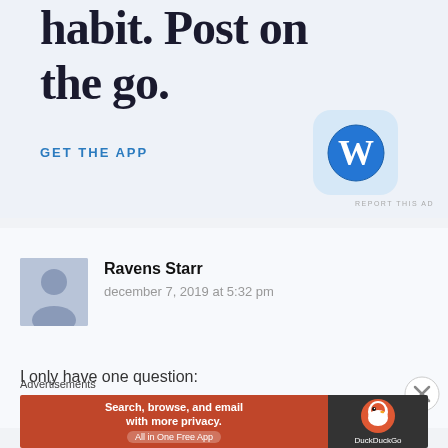Build a writing habit. Post on the go.
GET THE APP
[Figure (logo): WordPress app icon — blue W on light blue rounded square background]
REPORT THIS AD
[Figure (illustration): Generic user avatar silhouette in gray/blue]
Ravens Starr
december 7, 2019 at 5:32 pm
I only have one question:
Advertisements
[Figure (other): DuckDuckGo advertisement banner: orange left side with 'Search, browse, and email with more privacy. All in One Free App', dark right side with DuckDuckGo duck logo and text]
REPORT THIS AD